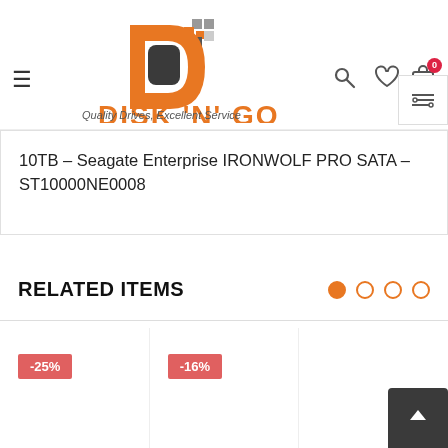[Figure (logo): Disk N Go logo with orange D icon and text 'DISK N GO Quality Drives, Excellent Service']
10TB – Seagate Enterprise IRONWOLF PRO SATA – ST10000NE0008
RELATED ITEMS
[Figure (other): Carousel navigation dots — one filled orange, three empty]
[Figure (other): Product card with -25% discount badge]
[Figure (other): Product card with -16% discount badge]